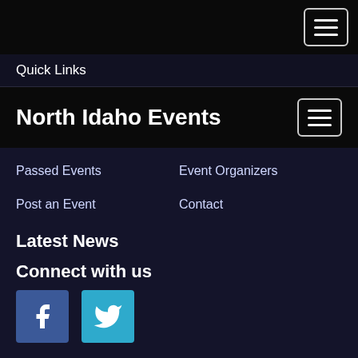Quick Links
North Idaho Events
Passed Events
Event Organizers
Post an Event
Contact
Latest News
Connect with us
[Figure (illustration): Facebook icon button (blue square with white f)]
[Figure (illustration): Twitter icon button (light blue square with white bird)]
[Figure (illustration): Four seasonal icons on dark blue bar: snowflake (winter), flower (spring), sun spiral (summer), maple leaf (fall)]